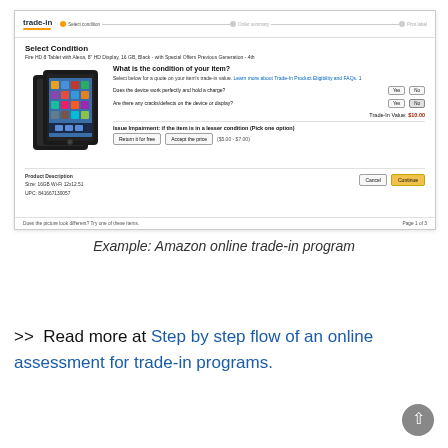[Figure (screenshot): Screenshot of Amazon trade-in program page showing 'Select Condition' for Fire HD 8 Tablet with Alexa, 8" HD Display, 16 GB, Black - with Special Offers Previous Generation - 4th. Includes condition questions with Yes/No buttons, Trade-in Value: $10.00, impaired item options, product description, and Cancel/Continue buttons.]
Example: Amazon online trade-in program
>> Read more at Step by step flow of an online assessment for trade-in programs.